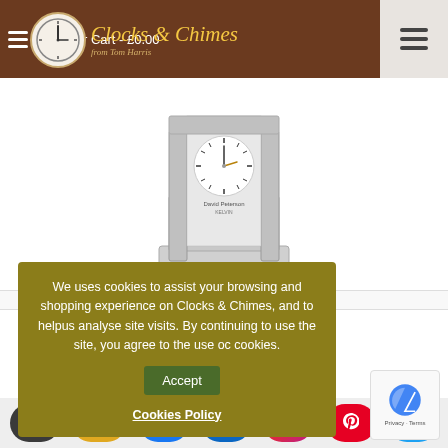Your Cart - £0.00 | Clocks & Chimes from Tom Harris
[Figure (photo): Silver carriage clock with glass panels and white dial face showing Roman numerals, David Peterson brand]
David Peterson Carriage Y-DP-AG-5
We uses cookies to assist your browsing and shopping experience on Clocks & Chimes, and to helpus analyse site visits. By continuing to use the site, you agree to the use oc cookies. Accept
Cookies Policy
Email | Amazon | Facebook | LinkedIn | Instagram | Pinterest | Twitter